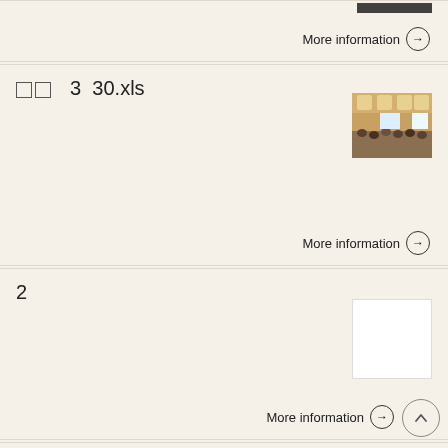More information →
□□  3  30.xls
[Figure (photo): Conference room with audience and presenter screen]
More information →
2
[Figure (photo): White/blank image placeholder]
More information →